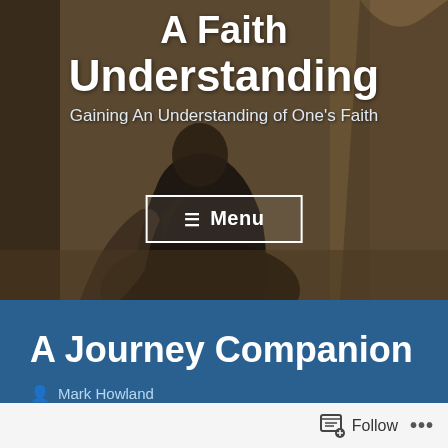[Figure (photo): Hero image showing a robed figure crouching in a desert/rocky landscape, partially obscured. Overlaid with large white bold text reading 'A Faith Understanding' and subtitle 'Gaining An Understanding of One's Faith', with a white-bordered Menu button below.]
A Journey Companion
Mark Howland
Christian Faith, Devotional, Jesus, life, Scripture
March 27, 2021  •  2 Minutes
Follow  •••